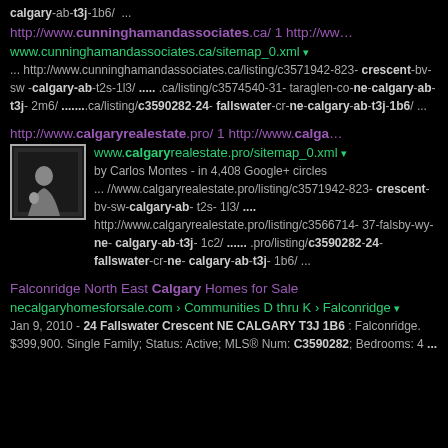calgary-ab-t3j-1b6/  ...
http://www.cunninghamandassociates.ca/ 1 http://ww… www.cunninghamandassociates.ca/sitemap_0.xml ▾
... http://www.cunninghamandassociates.ca/listing/c3571942-823-crescent-bv-sw-calgary-ab-t2s-1l3/ ..... .ca/listing/c3574540-31-taraglen-co-ne-calgary-ab-t3j-2m6/ .......ca/listing/c3590282-24-fallswater-cr-ne-calgary-ab-t3j-1b6/ ...
http://www.calgaryrealestate.pro/ 1 http://www.calga… www.calgaryrealestate.pro/sitemap_0.xml ▾
by Carlos Montes - in 4,408 Google+ circles
... //www.calgaryrealestate.pro/listing/c3571942-823-crescent-bv-sw-calgary-ab-t2s-1l3/ .... http://www.calgaryrealestate.pro/listing/c3566714-37-falsby-wy-ne-calgary-ab-t3j-1c2/ ...... .pro/listing/c3590282-24-fallswater-cr-ne-calgary-ab-t3j-1b6/ ...
Falconridge North East Calgary Homes for Sale
necalgaryhomesforsale.com › Communities D thru K › Falconridge ▾
Jan 9, 2010 - 24 Fallswater Crescent NE CALGARY T3J 1B6 : Falconridge. $399,900. Single Family; Status: Active; MLS® Num: C3590282; Bedrooms: 4 ...